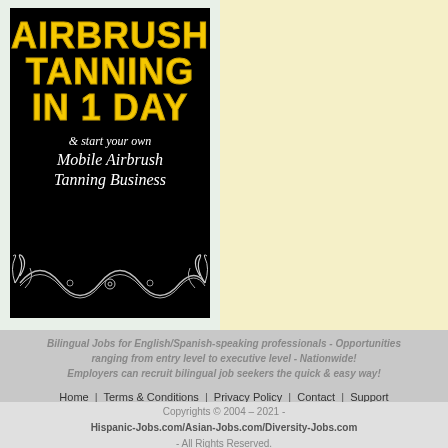[Figure (illustration): Advertisement banner with black background showing 'AIRBRUSH TANNING IN 1 DAY & start your own Mobile Airbrush Tanning Business' with yellow bold title and white italic script text, with decorative ornamental flourish at bottom]
[Figure (other): Light yellow rectangular advertisement placeholder panel on the right side]
Bilingual Jobs for English/Spanish-speaking professionals - Opportunities ranging from entry level to executive level - Nationwide! Employers can recruit bilingual job seekers the quick & easy way!
Home | Terms & Conditions | Privacy Policy | Contact | Support
Copyrights © 2004 – 2021 - Hispanic-Jobs.com/Asian-Jobs.com/Diversity-Jobs.com - All Rights Reserved.